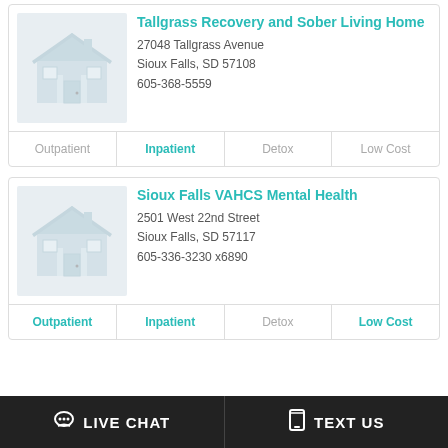Tallgrass Recovery and Sober Living Home
27048 Tallgrass Avenue
Sioux Falls, SD 57108
605-368-5559
| Outpatient | Inpatient | Detox | Low Cost |
| --- | --- | --- | --- |
|  |  |  |  |
Sioux Falls VAHCS Mental Health
2501 West 22nd Street
Sioux Falls, SD 57117
605-336-3230 x6890
| Outpatient | Inpatient | Detox | Low Cost |
| --- | --- | --- | --- |
|  |  |  |  |
LIVE CHAT   TEXT US